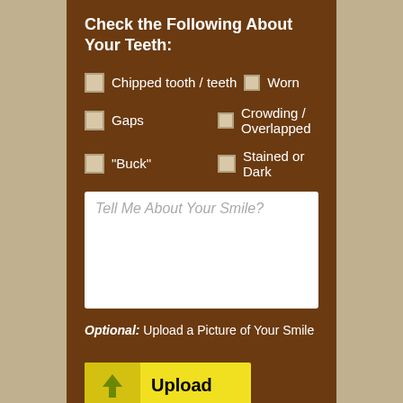Check the Following About Your Teeth:
Chipped tooth / teeth
Worn
Gaps
Crowding / Overlapped
"Buck"
Stained or Dark
Tell Me About Your Smile?
Optional: Upload a Picture of Your Smile
Upload
Accepted file types: jpg, gif, png, pdf.